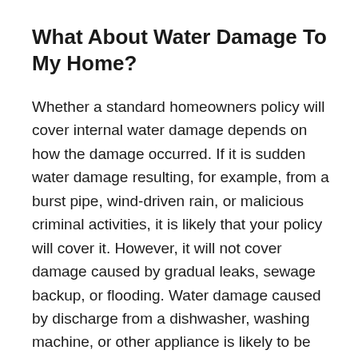What About Water Damage To My Home?
Whether a standard homeowners policy will cover internal water damage depends on how the damage occurred. If it is sudden water damage resulting, for example, from a burst pipe, wind-driven rain, or malicious criminal activities, it is likely that your policy will cover it. However, it will not cover damage caused by gradual leaks, sewage backup, or flooding. Water damage caused by discharge from a dishwasher, washing machine, or other appliance is likely to be covered, although repair or replacement of the appliance may also be taken...